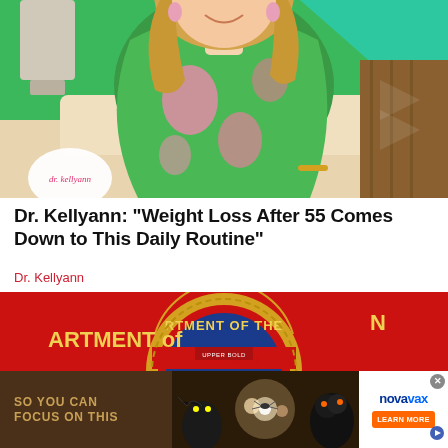[Figure (photo): Woman with blonde hair wearing a green floral dress, smiling, seated on a white couch on a TV talk show set with teal/green background. dr. kellyann logo in lower-left oval.]
Dr. Kellyann: "Weight Loss After 55 Comes Down to This Daily Routine"
Dr. Kellyann
[Figure (photo): Red background with large circular Department of the Navy official seal (blue and gold) partially visible.]
[Figure (photo): Advertisement banner: brown background with gold text 'SO YOU CAN FOCUS ON THIS', Halloween-themed image with creatures, and a white Novavax ad panel on the right with orange LEARN MORE button and close X button.]